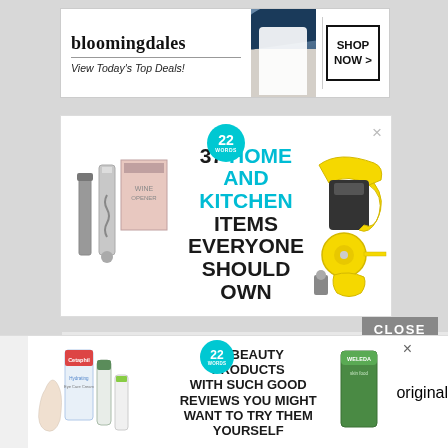[Figure (screenshot): Bloomingdales banner ad with logo, 'View Today's Top Deals!' tagline, model in hat, and 'SHOP NOW >' button]
[Figure (screenshot): 22 Words article ad: '37 HOME AND KITCHEN ITEMS EVERYONE SHOULD OWN' with kitchen product images and teal 22 Words badge]
CLOSE
[Figure (screenshot): 22 Words article ad: '37 BEAUTY PRODUCTS WITH SUCH GOOD REVIEWS YOU MIGHT WANT TO TRY THEM YOURSELF' with Cetaphil, Weleda beauty product images and teal 22 Words badge]